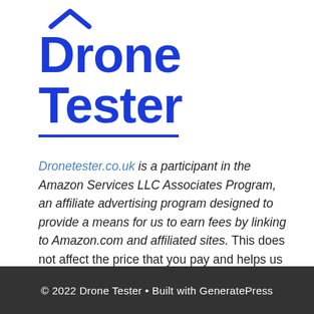[Figure (logo): Drone Tester logo with chevron icon above bold blue text reading Drone Tester with a blue underline]
Dronetester.co.uk is a participant in the Amazon Services LLC Associates Program, an affiliate advertising program designed to provide a means for us to earn fees by linking to Amazon.com and affiliated sites. This does not affect the price that you pay and helps us to get the information to you for free.
© 2022 Drone Tester • Built with GeneratePress